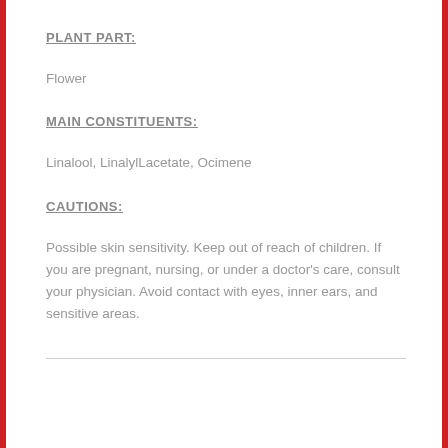PLANT PART:
Flower
MAIN CONSTITUENTS:
Linalool, LinalylLacetate, Ocimene
CAUTIONS:
Possible skin sensitivity. Keep out of reach of children. If you are pregnant, nursing, or under a doctor's care, consult your physician. Avoid contact with eyes, inner ears, and sensitive areas.